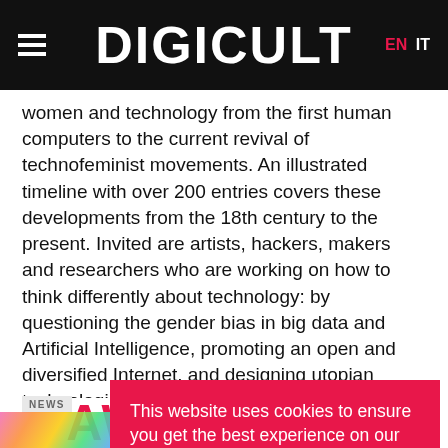DIGICULT  EN  IT
women and technology from the first human computers to the current revival of technofeminist movements. An illustrated timeline with over 200 entries covers these developments from the 18th century to the present. Invited are artists, hackers, makers and researchers who are working on how to think differently about technology: by questioning the gender bias in big data and Artificial Intelligence, promoting an open and diversified Internet, and designing utopian technologies...
This website uses cookies to ensure you get the best experience on our website. Learn more Got it
AWMIA 2019